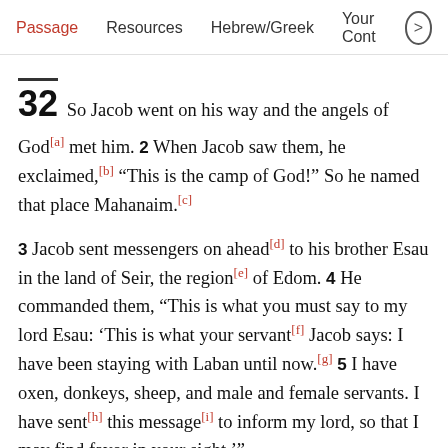Passage   Resources   Hebrew/Greek   Your Cont >
32 So Jacob went on his way and the angels of God[a] met him. 2 When Jacob saw them, he exclaimed,[b] “This is the camp of God!” So he named that place Mahanaim.[c]
3 Jacob sent messengers on ahead[d] to his brother Esau in the land of Seir, the region[e] of Edom. 4 He commanded them, “This is what you must say to my lord Esau: ‘This is what your servant[f] Jacob says: I have been staying with Laban until now.[g] 5 I have oxen, donkeys, sheep, and male and female servants. I have sent[h] this message[i] to inform my lord, so that I may find favor in your sight.’”
6 The messengers returned to Jacob and said, “We went to your brother Esau. He is coming to meet